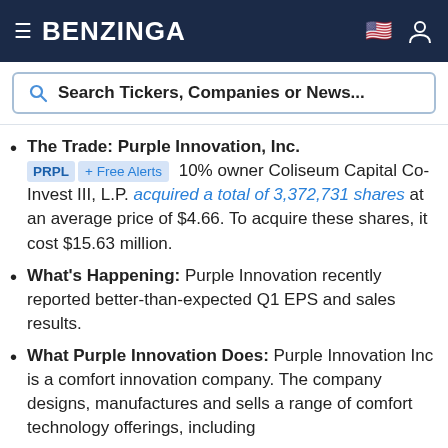BENZINGA
Search Tickers, Companies or News...
The Trade: Purple Innovation, Inc. PRPL + Free Alerts 10% owner Coliseum Capital Co-Invest III, L.P. acquired a total of 3,372,731 shares at an average price of $4.66. To acquire these shares, it cost $15.63 million.
What's Happening: Purple Innovation recently reported better-than-expected Q1 EPS and sales results.
What Purple Innovation Does: Purple Innovation Inc is a comfort innovation company. The company designs, manufactures and sells a range of comfort technology offerings, including